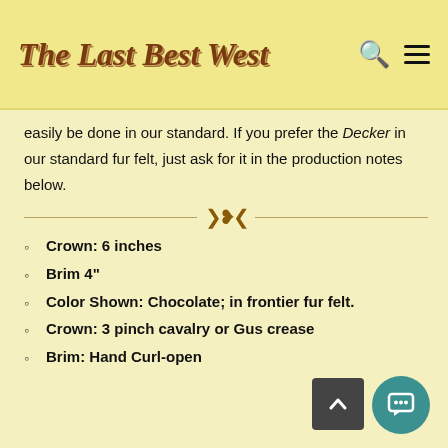The Last Best West
easily be done in our standard. If you prefer the Decker in our standard fur felt, just ask for it in the production notes below.
Crown: 6 inches
Brim 4"
Color Shown: Chocolate; in frontier fur felt.
Crown: 3 pinch cavalry or Gus crease
Brim: Hand Curl-open